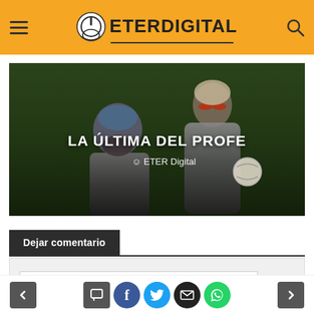ETER Digital
[Figure (photo): Two men in Argentine football training gear on a pitch. Overlaid white bold text reads 'LA ÚLTIMA DEL PROFE' with author credit 'ETER Digital' below.]
Dejar comentario
Comment input area
Navigation and social sharing bar with back/forward buttons and Facebook, Twitter, email, WhatsApp icons